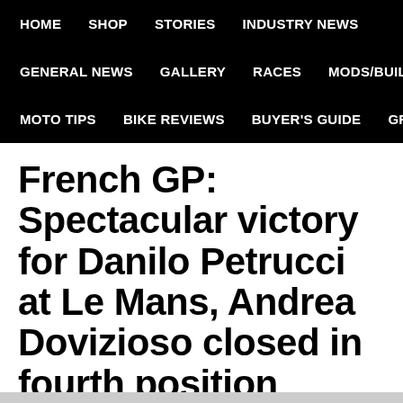HOME | SHOP | STORIES | INDUSTRY NEWS | GENERAL NEWS | GALLERY | RACES | MODS/BUILDS | MOTO TIPS | BIKE REVIEWS | BUYER'S GUIDE | GROUPS
French GP: Spectacular victory for Danilo Petrucci at Le Mans, Andrea Dovizioso closed in fourth position